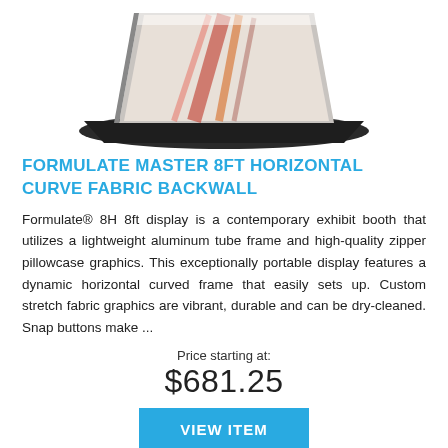[Figure (photo): Product photo of Formulate Master 8ft Horizontal Curve Fabric Backwall display — a curved fabric exhibit booth with orange/red graphic design on a dark base, shown from an angled perspective.]
FORMULATE MASTER 8FT HORIZONTAL CURVE FABRIC BACKWALL
Formulate® 8H 8ft display is a contemporary exhibit booth that utilizes a lightweight aluminum tube frame and high-quality zipper pillowcase graphics. This exceptionally portable display features a dynamic horizontal curved frame that easily sets up. Custom stretch fabric graphics are vibrant, durable and can be dry-cleaned. Snap buttons make ...
Price starting at:
$681.25
VIEW ITEM